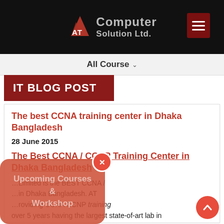AT Computer Solution Ltd. — navigation header with logo and menu button
All Course ▾
IT BLOG POST
The best CCNA training center in Dhaka Bangladesh
28 June 2015
The Best CCNA / CCNP Training Center in Dhaka Bangladesh
...Limited is the BEST CCNA / ...in Dhaka Bangladesh. AT ...roviding CCNA CCNP training over 5 years having the largest state-of-art lab in
[Figure (other): Popup overlay reading 'Upcoming Courses & Workshop' with a close button (red X circle)]